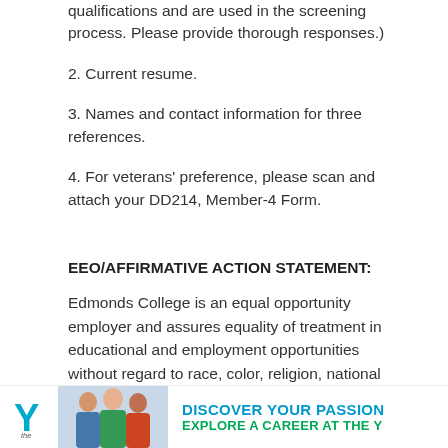qualifications and are used in the screening process. Please provide thorough responses.)
2. Current resume.
3. Names and contact information for three references.
4. For veterans' preference, please scan and attach your DD214, Member-4 Form.
EEO/AFFIRMATIVE ACTION STATEMENT:
Edmonds College is an equal opportunity employer and assures equality of treatment in educational and employment opportunities without regard to race, color, religion, national origin, sex (gender), disability, sexual orientation, age, citizenship status, marital status, veteran status, or genetic information. Applicants with disabilities who require assistance with the recruitment process may call 425-640-1470 and accommodations will be made to the extent reaso... acces...
[Figure (advertisement): YMCA advertisement banner with logo, people photo, and text 'DISCOVER YOUR PASSION EXPLORE A CAREER AT THE Y']